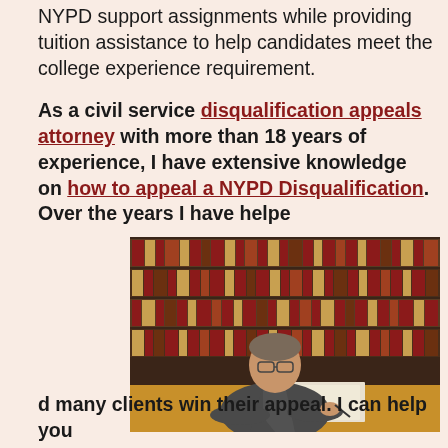NYPD support assignments while providing tuition assistance to help candidates meet the college experience requirement.

As a civil service disqualification appeals attorney with more than 18 years of experience, I have extensive knowledge on how to appeal a NYPD Disqualification. Over the years I have helpe
[Figure (photo): A man in a suit with a red tie sitting at a desk in front of a large wall of law books, appearing to write or sign documents.]
d many clients win their appeal. I can help you